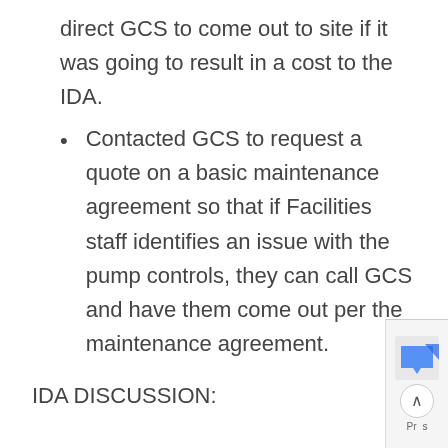direct GCS to come out to site if it was going to result in a cost to the IDA.
Contacted GCS to request a quote on a basic maintenance agreement so that if Facilities staff identifies an issue with the pump controls, they can call GCS and have them come out per the maintenance agreement.
IDA DISCUSSION:
c. Snow Removal:
IDA needs to secure the services of a contractor to plow the road leading to the